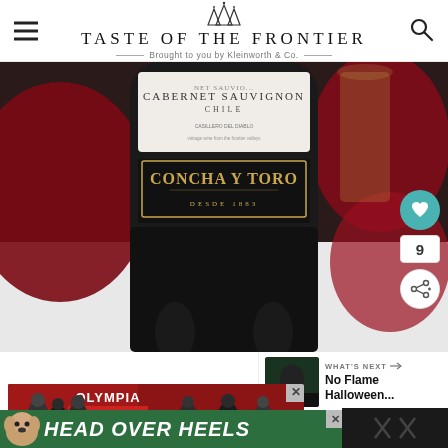TASTE OF THE FRONTIER - Brought to you by Kleinworth & Co.
[Figure (photo): Close-up photo of a Concha y Toro Cabernet Sauvignon wine bottle from Chile, showing the label with gold text on black background, with red fabric and a glass in the background]
[Figure (screenshot): What's Next widget showing a thumbnail and text 'No Flame Halloween...' with arrow]
[Figure (photo): Advertisement banner showing Olympia Fire Department firefighters]
[Figure (infographic): Advertisement banner with green background showing a dog and text 'HEAD OVER HEELS' in large italic white letters]